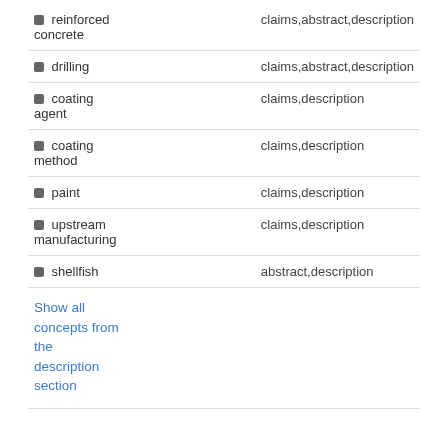| Concept | Sections |
| --- | --- |
| reinforced concrete | claims,abstract,description |
| drilling | claims,abstract,description |
| coating agent | claims,description |
| coating method | claims,description |
| paint | claims,description |
| upstream manufacturing | claims,description |
| shellfish | abstract,description |
Show all concepts from the description section